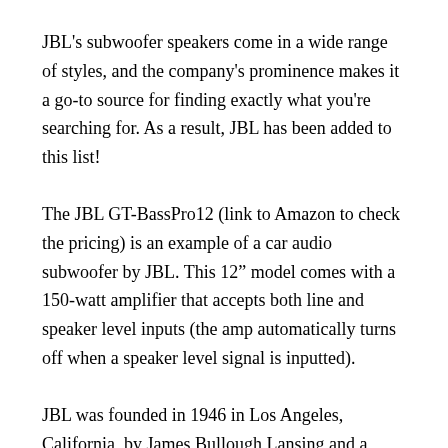JBL's subwoofer speakers come in a wide range of styles, and the company's prominence makes it a go-to source for finding exactly what you're searching for. As a result, JBL has been added to this list!
The JBL GT-BassPro12 (link to Amazon to check the pricing) is an example of a car audio subwoofer by JBL. This 12" model comes with a 150-watt amplifier that accepts both line and speaker level inputs (the amp automatically turns off when a speaker level signal is inputted).
JBL was founded in 1946 in Los Angeles, California, by James Bullough Lansing and a partner, and the company is still located there today. Samsung Electronics presently owns the brand, which is administered by Harmon International Industries.
Lansing also formed the Lansing Manufacturing Company in 1927, which was bought out by Altec Service Corporation in 1941 and